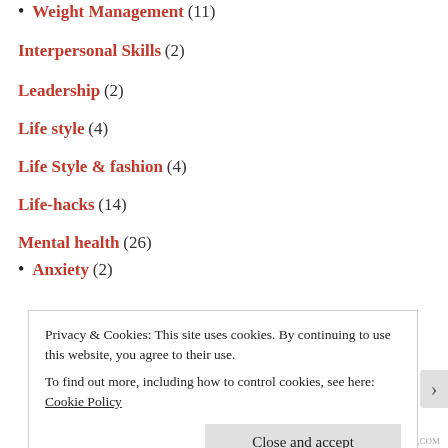Weight Management (11)
Interpersonal Skills (2)
Leadership (2)
Life style (4)
Life Style & fashion (4)
Life-hacks (14)
Mental health (26)
Anxiety (2)
Motivation (18)
Personal Branding (8)
Personal Growth (19)
Privacy & Cookies: This site uses cookies. By continuing to use this website, you agree to their use. To find out more, including how to control cookies, see here: Cookie Policy
Close and accept